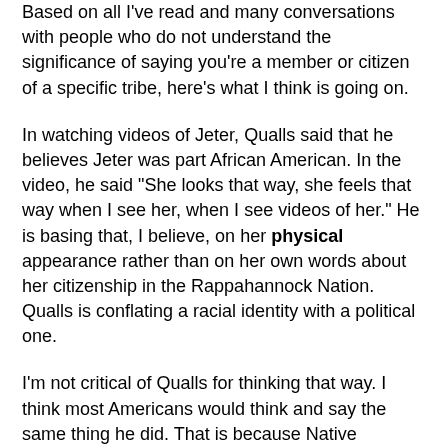Based on all I've read and many conversations with people who do not understand the significance of saying you're a member or citizen of a specific tribe, here's what I think is going on.
In watching videos of Jeter, Qualls said that he believes Jeter was part African American. In the video, he said "She looks that way, she feels that way when I see her, when I see videos of her." He is basing that, I believe, on her physical appearance rather than on her own words about her citizenship in the Rappahannock Nation. Qualls is conflating a racial identity with a political one.
I'm not critical of Qualls for thinking that way. I think most Americans would think and say the same thing he did. That is because Native Nationhood is not taught in schools. It should be, and it should be part of children's books, too, because our membership or citizenship in our nations is a fact of who we are. Indeed, it is the most significant characteristic of who we are, collectively. It is why our ancestors made treaties with leaders of other nations. It is why we, today, have jurisdiction of our homelands.